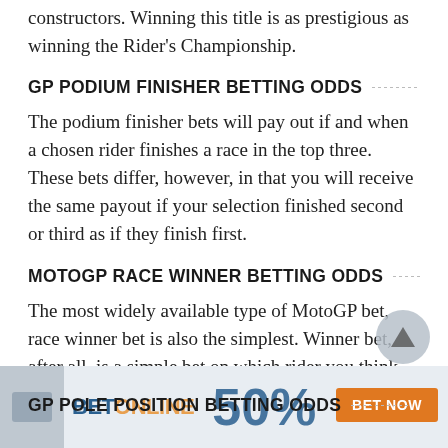constructors. Winning this title is as prestigious as winning the Rider's Championship.
GP PODIUM FINISHER BETTING ODDS
The podium finisher bets will pay out if and when a chosen rider finishes a race in the top three. These bets differ, however, in that you will receive the same payout if your selection finished second or third as if they finish first.
MOTOGP RACE WINNER BETTING ODDS
The most widely available type of MotoGP bet, race winner bet is also the simplest. Winner bet, after all, is a simple bet on which rider you think will cross the finish line first.
GP POLE POSITION BETTING ODDS